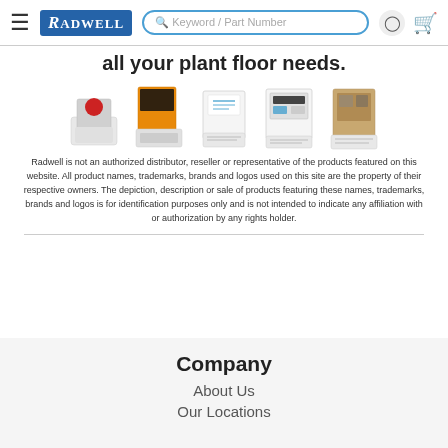Radwell — navigation bar with hamburger menu, logo, search bar, user icon, cart icon
all your plant floor needs.
[Figure (photo): Row of five industrial control products (push button, relay, meter, controller, module) in white boxes]
Radwell is not an authorized distributor, reseller or representative of the products featured on this website. All product names, trademarks, brands and logos used on this site are the property of their respective owners. The depiction, description or sale of products featuring these names, trademarks, brands and logos is for identification purposes only and is not intended to indicate any affiliation with or authorization by any rights holder.
Company
About Us
Our Locations